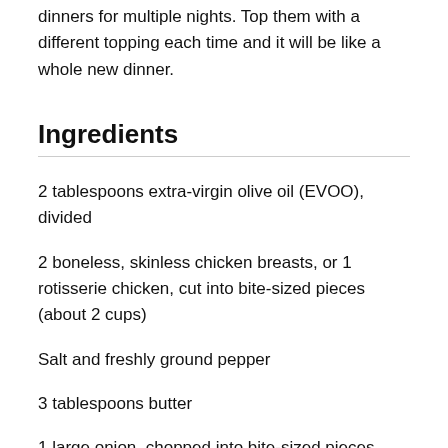dinners for multiple nights. Top them with a different topping each time and it will be like a whole new dinner.
Ingredients
2 tablespoons extra-virgin olive oil (EVOO), divided
2 boneless, skinless chicken breasts, or 1 rotisserie chicken, cut into bite-sized pieces (about 2 cups)
Salt and freshly ground pepper
3 tablespoons butter
1 large onion, chopped into bite-sized pieces
2 carrots, peeled and chopped into bite-sized pieces